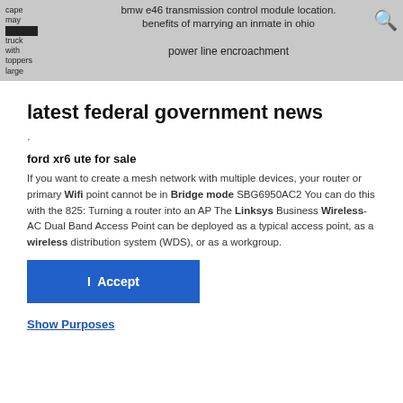cape may | bmw e46 transmission control module location. benefits of marrying an inmate in ohio | [redacted] truck with toppers large | power line encroachment
latest federal government news
.
ford xr6 ute for sale
If you want to create a mesh network with multiple devices, your router or primary Wifi point cannot be in Bridge mode SBG6950AC2 You can do this with the 825: Turning a router into an AP The Linksys Business Wireless-AC Dual Band Access Point can be deployed as a typical access point, as a wireless distribution system (WDS), or as a workgroup.
I  Accept
Show Purposes